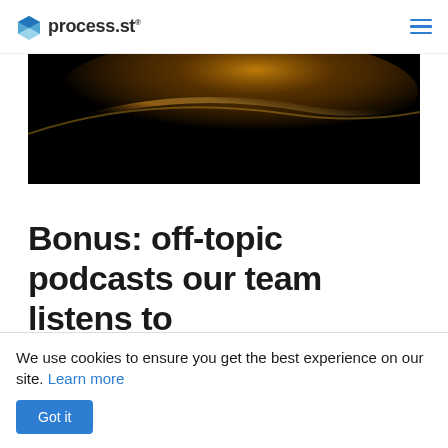process.st
[Figure (photo): Dark abstract background image with golden/orange light streaks on a black background, shown partially cropped at the top]
Bonus: off-topic podcasts our team listens to
You've read our top business picks, now here's a
We use cookies to ensure you get the best experience on our site. Learn more
Got it